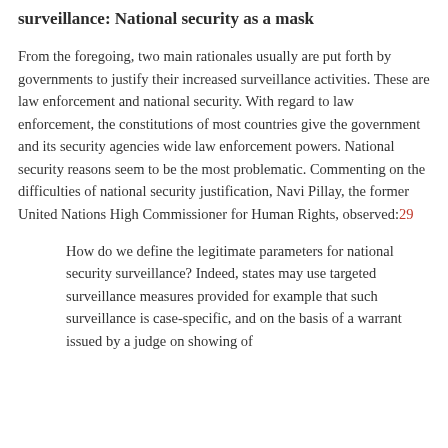surveillance: National security as a mask
From the foregoing, two main rationales usually are put forth by governments to justify their increased surveillance activities. These are law enforcement and national security. With regard to law enforcement, the constitutions of most countries give the government and its security agencies wide law enforcement powers. National security reasons seem to be the most problematic. Commenting on the difficulties of national security justification, Navi Pillay, the former United Nations High Commissioner for Human Rights, observed:29
How do we define the legitimate parameters for national security surveillance? Indeed, states may use targeted surveillance measures provided for example that such surveillance is case-specific, and on the basis of a warrant issued by a judge on showing of